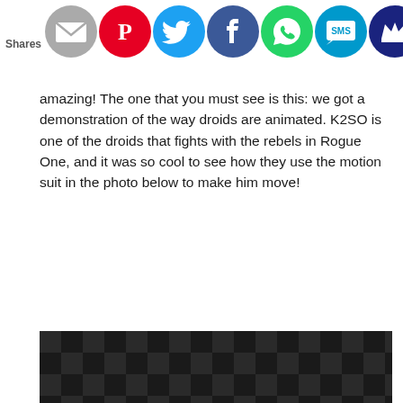[Figure (other): Social sharing bar with icons: email (grey), Pinterest (red), Twitter (blue), Facebook (blue), WhatsApp (green), SMS (blue), Crown (blue)]
amazing! The one that you must see is this: we got a demonstration of the way droids are animated. K2SO is one of the droids that fights with the rebels in Rogue One, and it was so cool to see how they use the motion suit in the photo below to make him move!
[Figure (photo): Dark photo showing what appears to be a metal rod or bar against a dark checkered background]
Privacy & Cookies: This site uses cookies. By continuing to use this website, you agree to their use.
To find out more, including how to control cookies, see here: Cookie Policy
Close and accept